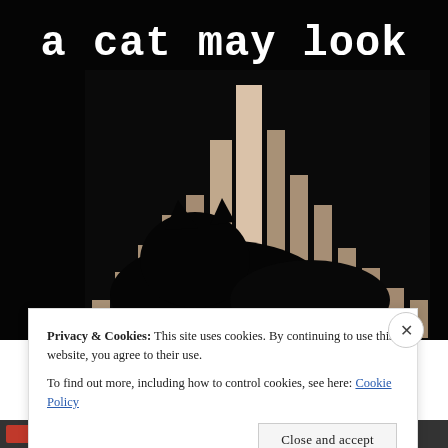[Figure (illustration): Book cover or website header image: dark/black background with a silhouette of a cat in front of vertical bars of varying heights resembling a bar chart or music equalizer. Title text 'a cat may look' in white serif typewriter-style font at the top.]
Privacy & Cookies: This site uses cookies. By continuing to use this website, you agree to their use.
To find out more, including how to control cookies, see here: Cookie Policy
Close and accept